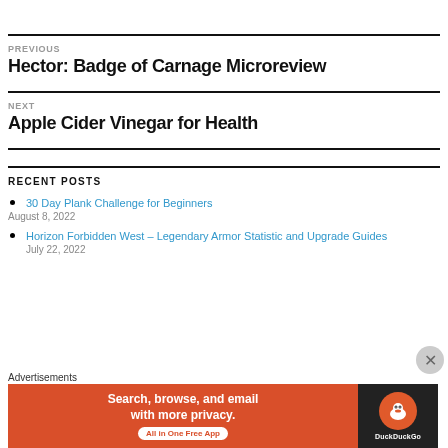PREVIOUS
Hector: Badge of Carnage Microreview
NEXT
Apple Cider Vinegar for Health
RECENT POSTS
30 Day Plank Challenge for Beginners
August 8, 2022
Horizon Forbidden West – Legendary Armor Statistic and Upgrade Guides
July 22, 2022
[Figure (infographic): DuckDuckGo advertisement banner: orange left panel with text 'Search, browse, and email with more privacy. All in One Free App' and dark right panel with DuckDuckGo logo and name.]